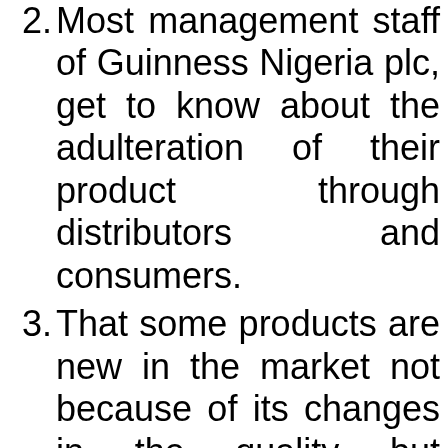2. Most management staff of Guinness Nigeria plc, get to know about the adulteration of their product through distributors and consumers.
3. That some products are new in the market not because of its changes in the quality but because of